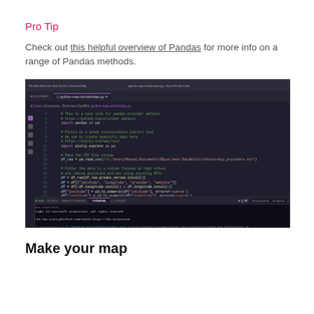Pro Tip
Check out this helpful overview of Pandas for more info on a range of Pandas methods.
[Figure (screenshot): VS Code IDE screenshot showing Python code for reading a CSV file with pandas and plotly.express, with a terminal below showing PowerShell output with tabular data (latitude, longitude, provider, program, website columns).]
Make your map